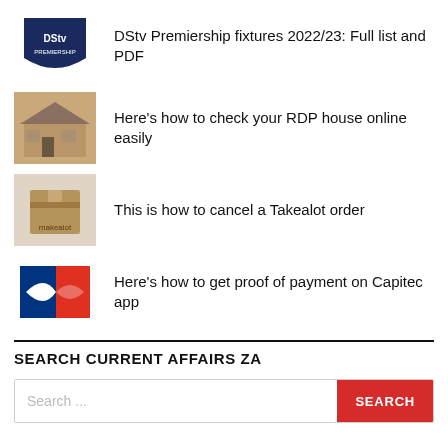DStv Premiership fixtures 2022/23: Full list and PDF
Here's how to check your RDP house online easily
This is how to cancel a Takealot order
Here's how to get proof of payment on Capitec app
SEARCH CURRENT AFFAIRS ZA